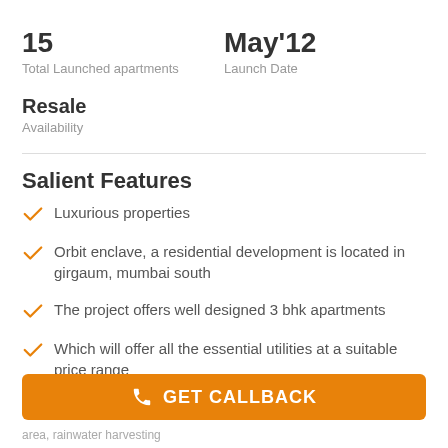15
Total Launched apartments
May'12
Launch Date
Resale
Availability
Salient Features
Luxurious properties
Orbit enclave, a residential development is located in girgaum, mumbai south
The project offers well designed 3 bhk apartments
Which will offer all the essential utilities at a suitable price range
GET CALLBACK
area, rainwater harvesting